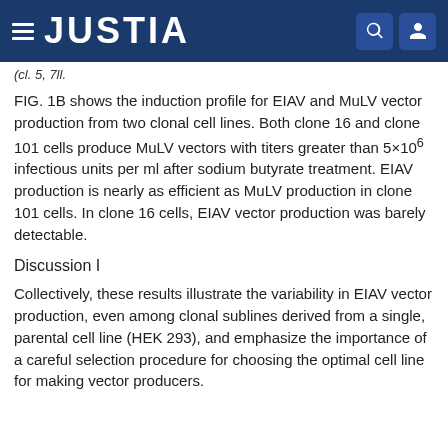JUSTIA
(cl. 5, 7ll.
FIG. 1B shows the induction profile for EIAV and MuLV vector production from two clonal cell lines. Both clone 16 and clone 101 cells produce MuLV vectors with titers greater than 5×10^6 infectious units per ml after sodium butyrate treatment. EIAV production is nearly as efficient as MuLV production in clone 101 cells. In clone 16 cells, EIAV vector production was barely detectable.
Discussion I
Collectively, these results illustrate the variability in EIAV vector production, even among clonal sublines derived from a single, parental cell line (HEK 293), and emphasize the importance of a careful selection procedure for choosing the optimal cell line for making vector producers.